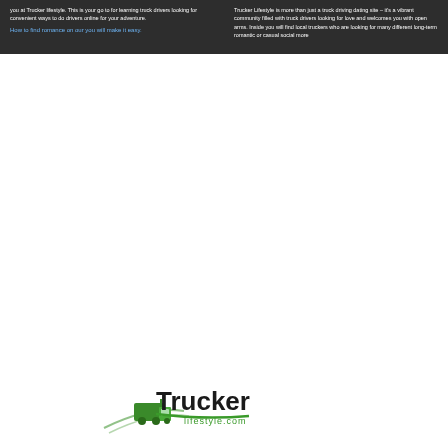you at Trucker lifestyle. This is your go-to for learning truck drivers looking for convenient ways to do drivers online for your adventure.
Trucker Lifestyle is more than just a truck driving dating site – it's a vibrant community filled with truck drivers looking for love and welcomes you with open arms. Inside you will find local truckers who are looking for many different long-term romantic or casual social more
How to find romance on our you will make it easy.
[Figure (logo): Trucker logo with green truck icon and stylized 'Trucker' text in black and green with '.com' underneath]